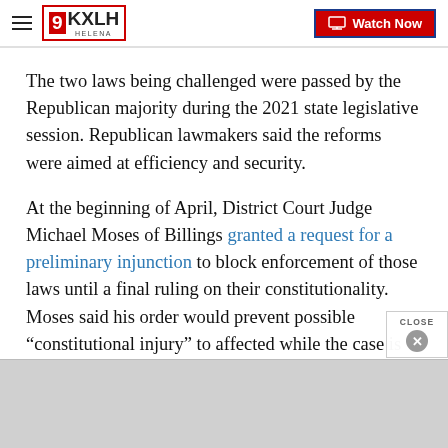9KXLH HELENA | Watch Now
The two laws being challenged were passed by the Republican majority during the 2021 state legislative session. Republican lawmakers said the reforms were aimed at efficiency and security.
At the beginning of April, District Court Judge Michael Moses of Billings granted a request for a preliminary injunction to block enforcement of those laws until a final ruling on their constitutionality. Moses said his order would prevent possible “constitutional injury” to affected while the case is